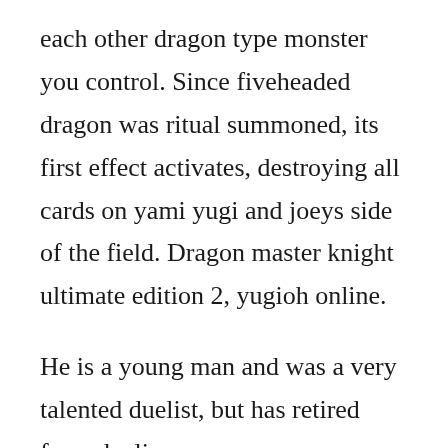each other dragon type monster you control. Since fiveheaded dragon was ritual summoned, its first effect activates, destroying all cards on yami yugi and joeys side of the field. Dragon master knight ultimate edition 2, yugioh online.
He is a young man and was a very talented duelist, but has retired from dueling over one year ago. Agaton is one of the protagonists from the youtube series yugioh. Jul 02, 2002 leichter then activates dragon revival ritual to tribute all of the big five s deck masters and